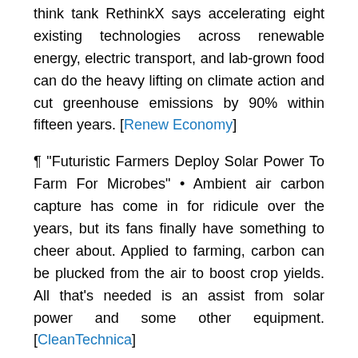think tank RethinkX says accelerating eight existing technologies across renewable energy, electric transport, and lab-grown food can do the heavy lifting on climate action and cut greenhouse emissions by 90% within fifteen years. [Renew Economy]
¶ "Futuristic Farmers Deploy Solar Power To Farm For Microbes" • Ambient air carbon capture has come in for ridicule over the years, but its fans finally have something to cheer about. Applied to farming, carbon can be plucked from the air to boost crop yields. All that's needed is an assist from solar power and some other equipment. [CleanTechnica]
[Figure (photo): Aerial photograph of a farming facility with solar panels and agricultural fields. Labels visible at bottom: 'Air', 'CO2', 'Methanol']